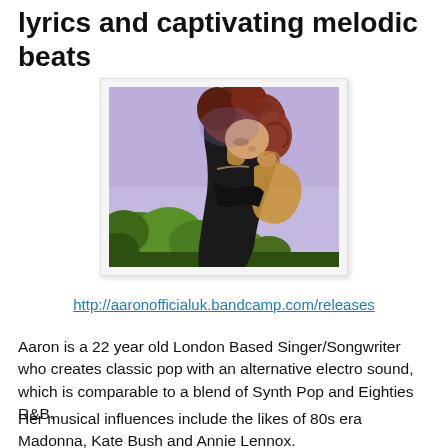lyrics and captivating melodic beats
[Figure (photo): Young woman with curly reddish-brown hair, wearing a black top, looking downward, against a purple-tinted sky background with green trees below]
http://aaronofficialuk.bandcamp.com/releases
Aaron is a 22 year old London Based Singer/Songwriter who creates classic pop with an alternative electro sound, which is comparable to a blend of Synth Pop and Eighties R&B.
Her musical influences include the likes of 80s era Madonna, Kate Bush and Annie Lennox.